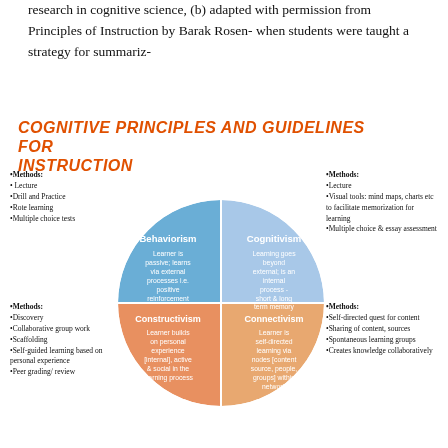research in cognitive science, (b) adapted with permission from Principles of Instruction by Barak Rosen- when students were taught a strategy for summariz-
COGNITIVE PRINCIPLES AND GUIDELINES FOR INSTRUCTION
[Figure (infographic): Circle divided into four quadrants representing four learning theories: Behaviorism (top-left, blue) - Learner is passive; learns via external processes i.e. positive reinforcement; Cognitivism (top-right, blue) - Learning goes beyond external; is an internal process - short & long term memory; Constructivism (bottom-left, orange) - Learner builds on personal experience [internal], active & social in the learning process; Connectivism (bottom-right, orange) - Learner is self-directed learning via nodes [content source, people, groups] within network. Each quadrant has associated bullet-point methods outside the circle.]